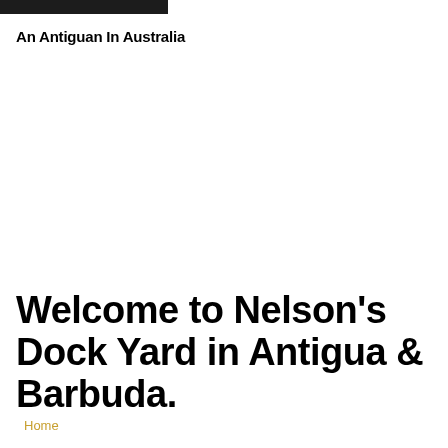[Figure (photo): Dark photo banner at top of page, partially cropped]
An Antiguan In Australia
Welcome to Nelson's Dock Yard in Antigua & Barbuda.
Home